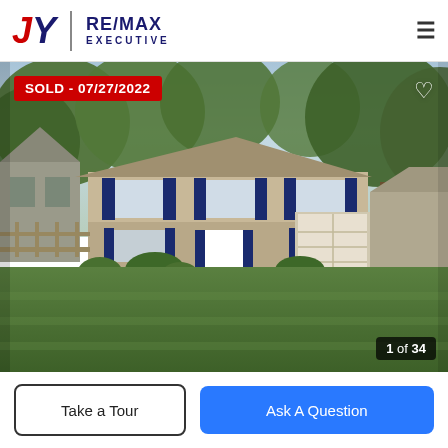JY RE/MAX EXECUTIVE
[Figure (photo): Exterior photo of a two-story colonial-style home with beige/tan siding, dark navy shutters, white front door, one-car garage, large green lawn, and trees in background. Red 'SOLD - 07/27/2022' badge in top-left corner. Heart icon top-right. Photo counter '1 of 34' bottom-right.]
SOLD - 07/27/2022
1 of 34
Take a Tour
Ask A Question